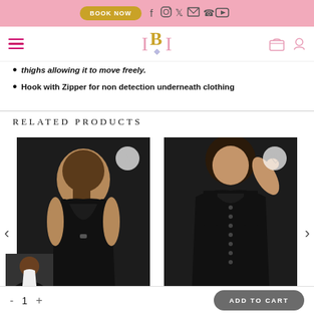BOOK NOW  [social icons]
Navigation bar with logo [BI] and icons
thighs allowing it to move freely.
Hook with Zipper for non detection underneath clothing
RELATED PRODUCTS
[Figure (photo): Woman wearing black backless bodysuit shapewear, back view]
[Figure (photo): Woman wearing black full-body shapewear with front buttons, front view]
[Figure (photo): Small thumbnail of shapewear product]
- 1 +  ADD TO CART